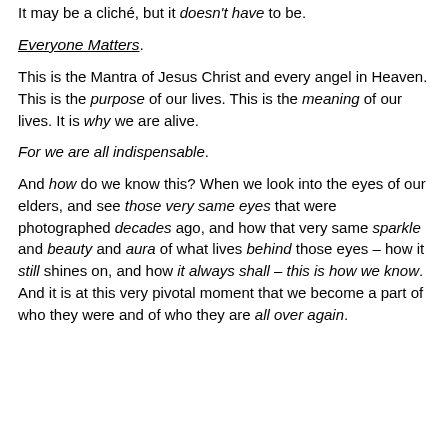It may be a cliché, but it doesn't have to be.
Everyone Matters.
This is the Mantra of Jesus Christ and every angel in Heaven. This is the purpose of our lives. This is the meaning of our lives. It is why we are alive.
For we are all indispensable.
And how do we know this? When we look into the eyes of our elders, and see those very same eyes that were photographed decades ago, and how that very same sparkle and beauty and aura of what lives behind those eyes – how it still shines on, and how it always shall – this is how we know. And it is at this very pivotal moment that we become a part of who they were and of who they are all over again.